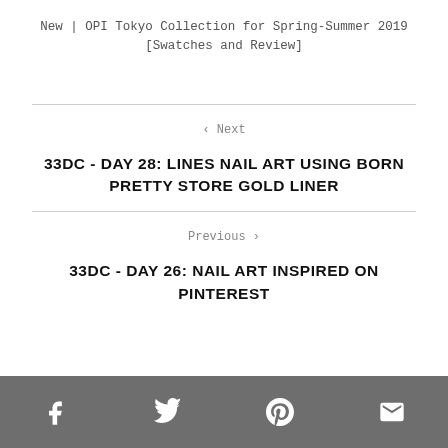New | OPI Tokyo Collection for Spring-Summer 2019 [Swatches and Review]
< Next
33DC - DAY 28: LINES NAIL ART USING BORN PRETTY STORE GOLD LINER
Previous >
33DC - DAY 26: NAIL ART INSPIRED ON PINTEREST
Facebook Twitter Pinterest Email